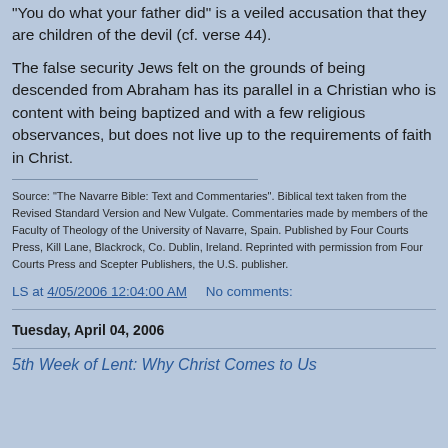"You do what your father did" is a veiled accusation that they are children of the devil (cf. verse 44).
The false security Jews felt on the grounds of being descended from Abraham has its parallel in a Christian who is content with being baptized and with a few religious observances, but does not live up to the requirements of faith in Christ.
Source: "The Navarre Bible: Text and Commentaries". Biblical text taken from the Revised Standard Version and New Vulgate. Commentaries made by members of the Faculty of Theology of the University of Navarre, Spain. Published by Four Courts Press, Kill Lane, Blackrock, Co. Dublin, Ireland. Reprinted with permission from Four Courts Press and Scepter Publishers, the U.S. publisher.
LS at 4/05/2006 12:04:00 AM     No comments:
Tuesday, April 04, 2006
5th Week of Lent: Why Christ Comes to Us